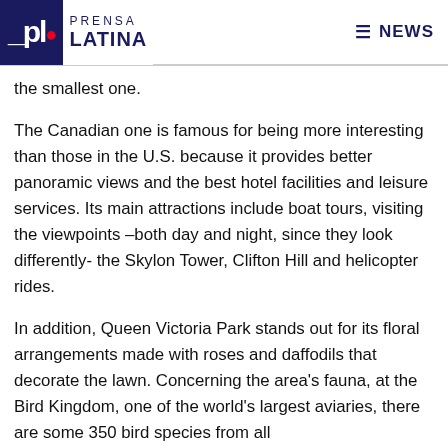Prensa Latina | NEWS
the smallest one.
The Canadian one is famous for being more interesting than those in the U.S. because it provides better panoramic views and the best hotel facilities and leisure services. Its main attractions include boat tours, visiting the viewpoints –both day and night, since they look differently- the Skylon Tower, Clifton Hill and helicopter rides.
In addition, Queen Victoria Park stands out for its floral arrangements made with roses and daffodils that decorate the lawn. Concerning the area's fauna, at the Bird Kingdom, one of the world's largest aviaries, there are some 350 bird species from all